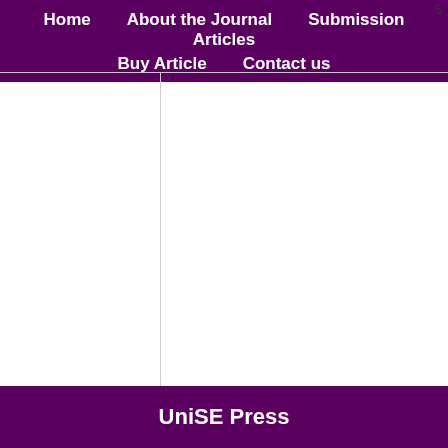5
Home   About the Journal   Submission   Articles   Buy Article   Contact us
UniSE Press